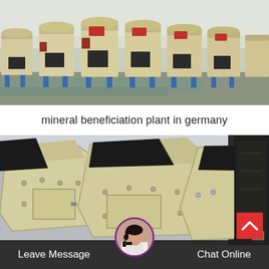[Figure (photo): Row of large cylindrical beige industrial grinding/milling machines with blue metal legs, parked in an outdoor yard near a building. Multiple units visible side by side.]
mineral beneficiation plant in germany
[Figure (photo): Large beige angular industrial impact crusher machines in an outdoor equipment yard. Multiple units visible with dark metal housing on the right side.]
Leave Message   Chat Online